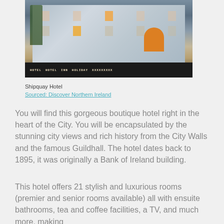[Figure (photo): Exterior photo of the Shipquay Hotel, a large white multi-storey building with illuminated entrance door, taken at dusk/evening. Street-level banners visible at the bottom.]
Shipquay Hotel
Sourced: Discover Northern Ireland
You will find this gorgeous boutique hotel right in the heart of the City. You will be encapsulated by the stunning city views and rich history from the City Walls and the famous Guildhall. The hotel dates back to 1895, it was originally a Bank of Ireland building.
This hotel offers 21 stylish and luxurious rooms (premier and senior rooms available) all with ensuite bathrooms, tea and coffee facilities, a TV, and much more, making